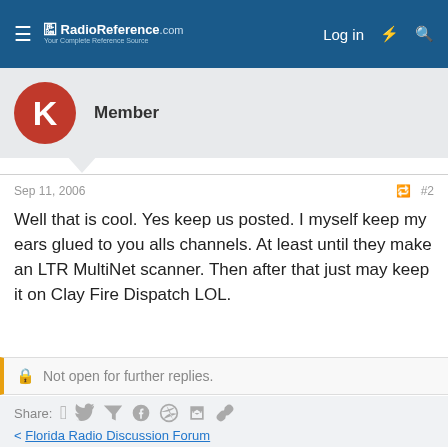RadioReference.com — Log in
Member
Sep 11, 2006  #2
Well that is cool. Yes keep us posted. I myself keep my ears glued to you alls channels. At least until they make an LTR MultiNet scanner. Then after that just may keep it on Clay Fire Dispatch LOL.
Not open for further replies.
Share:
< Florida Radio Discussion Forum